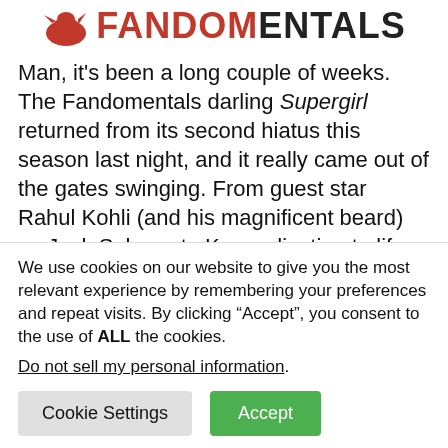[Figure (logo): Fandomentals logo with red bird and bold red/black text reading FANDOMENTALS]
Man, it's been a long couple of weeks. The Fandomentals darling Supergirl returned from its second hiatus this season last night, and it really came out of the gates swinging. From guest star Rahul Kohli (and his magnificent beard) as Jack Spheer, to Kara adjusting to life as an independent reporter, to more Lena Luthor than you can shake a stick at, we certainly hope this episode will be a tone-setter for the last few episodes of season
We use cookies on our website to give you the most relevant experience by remembering your preferences and repeat visits. By clicking “Accept”, you consent to the use of ALL the cookies.
Do not sell my personal information.
Cookie Settings
Accept